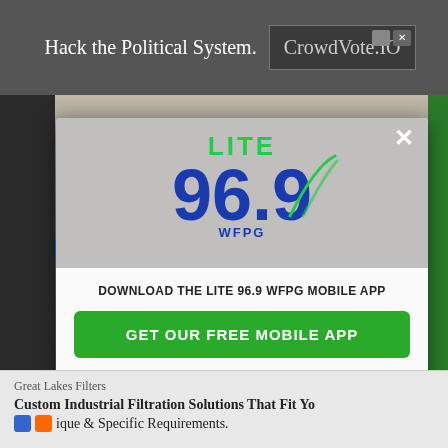[Figure (screenshot): Top advertisement banner showing 'Hack the Political System.' and 'CrowdVote.IO' on a dark gray background]
[Figure (logo): LITE 96.9 WFPG radio station logo with 'LITE' in green, '96.9' in blue with decorative arc, and 'WFPG' in blue, displayed in modal popup]
DOWNLOAD THE LITE 96.9 WFPG MOBILE APP
GET OUR FREE MOBILE APP
Also listen on:  amazon alexa
[Figure (screenshot): Bottom advertisement bar showing 'Great Lakes Filters' company name and 'Custom Industrial Filtration Solutions That Fit Yo ique & Specific Requirements.' text]